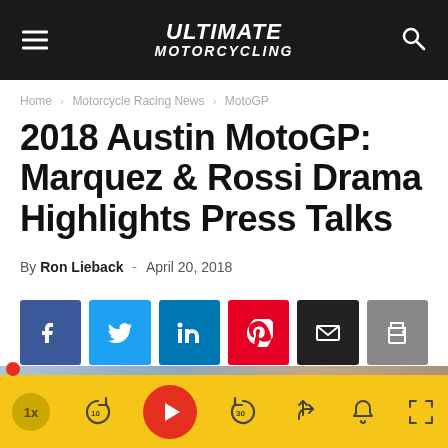Ultimate Motorcycling
Home › Motorcycle Racing News › MotoGP
2018 Austin MotoGP: Marquez & Rossi Drama Highlights Press Talks
By Ron Lieback  -  April 20, 2018
[Figure (other): Social share buttons: Facebook, Twitter, LinkedIn, Pinterest, Email, Print]
[Figure (photo): Partial image strip showing motorcycle racing scene with Red Bull branding]
[Figure (other): Audio/video player bar with speed (1x), rewind 10, play button, forward 30, share, bell, and fullscreen controls on yellow background]